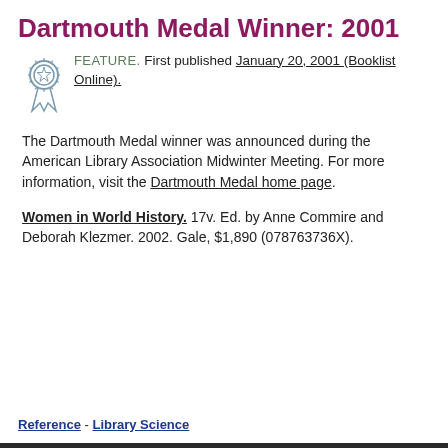Dartmouth Medal Winner: 2001
FEATURE. First published January 20, 2001 (Booklist Online).
The Dartmouth Medal winner was announced during the American Library Association Midwinter Meeting. For more information, visit the Dartmouth Medal home page.
Women in World History. 17v. Ed. by Anne Commire and Deborah Klezmer. 2002. Gale, $1,890 (078763736X).
Reference - Library Science